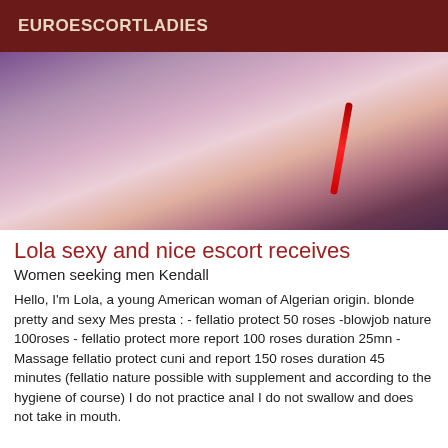EUROESCORTLADIES
[Figure (photo): Partial body photo with purple/pink tones and a red stripe element]
Lola sexy and nice escort receives
Women seeking men Kendall
Hello, I'm Lola, a young American woman of Algerian origin. blonde pretty and sexy Mes presta : - fellatio protect 50 roses -blowjob nature 100roses - fellatio protect more report 100 roses duration 25mn - Massage fellatio protect cuni and report 150 roses duration 45 minutes (fellatio nature possible with supplement and according to the hygiene of course) I do not practice anal I do not swallow and does not take in mouth.